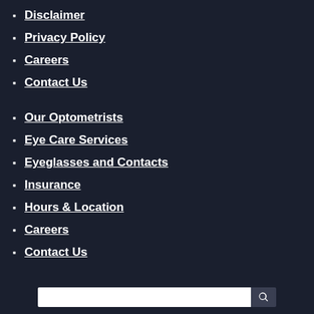Disclaimer
Privacy Policy
Careers
Contact Us
Our Optometrists
Eye Care Services
Eyeglasses and Contacts
Insurance
Hours & Location
Careers
Contact Us